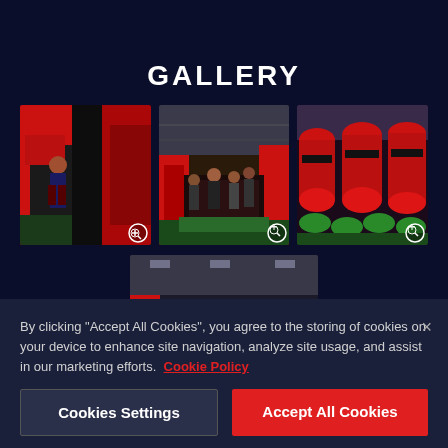GALLERY
[Figure (photo): Person sliding down a red and black inflatable slide at an indoor inflatable park]
[Figure (photo): Children playing on colorful red, black, and green inflatable obstacle course in a large warehouse]
[Figure (photo): View of red and green inflatable stepping stones and tubes in an indoor inflatable arena]
[Figure (photo): Group of children and adults posing on inflatable equipment in an indoor play warehouse]
By clicking "Accept All Cookies", you agree to the storing of cookies on your device to enhance site navigation, analyze site usage, and assist in our marketing efforts.
Cookie Policy
Cookies Settings
Accept All Cookies